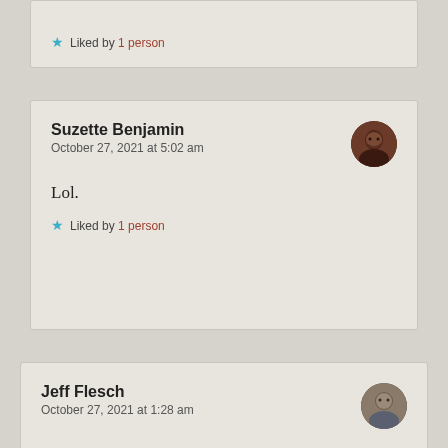Liked by 1 person
Suzette Benjamin
October 27, 2021 at 5:02 am
Lol.
Liked by 1 person
Jeff Flesch
October 27, 2021 at 1:28 am
Fantastic take, Suzette. Awesome.